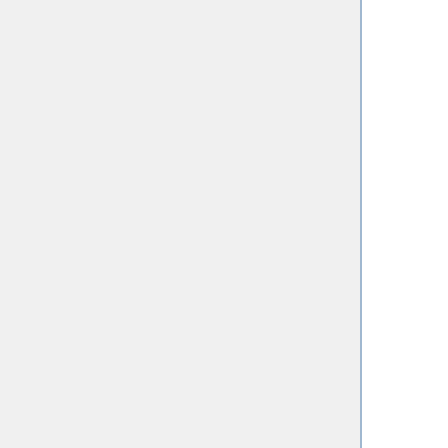of millions of compounds against a protein to isolate potential drug leads. These leads are then further studied, and could eventually result in a new, marketable drug. DOCK is works well as a screening procedure for generating leads, but not nearly as well for optimization of those leads. Original DOCK used only rigid body docking, DOCK 4.0, however, introduced flexible ligand docking by either a)incremental construction or b)random search.
Incremental construction (aka anchor and grow) could be roughly described by a three step process: 1) rigid portion of ligand (anchor) is docked by geometrical methods 2) non-rigid segments added; energy minimized 3) the resulting configurations are 'pruned' and energy re-minimized, yielding the docked...